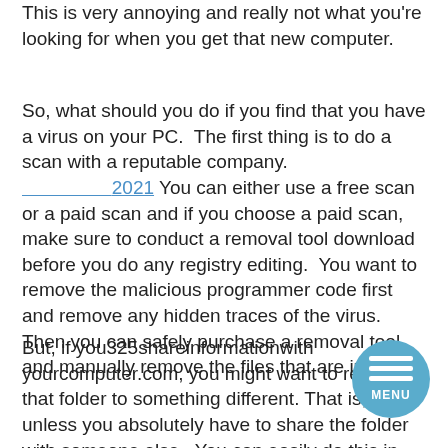This is very annoying and really not what you're looking for when you get that new computer.
So, what should you do if you find that you have a virus on your PC.  The first thing is to do a scan with a reputable company. ________________ 2021 You can either use a free scan or a paid scan and if you choose a paid scan, make sure to conduct a removal tool download before you do any registry editing.  You want to remove the malicious programmer code first and remove any hidden traces of the virus. Then you can safely purchase a removal tool and manually remove the files that are infected.
But, if you325shareinformationwith yourcomputer.com, you might want to rename that folder to something different. That is, unless you absolutely have to share the folder with someone else.  You can easily do this in most email programs.